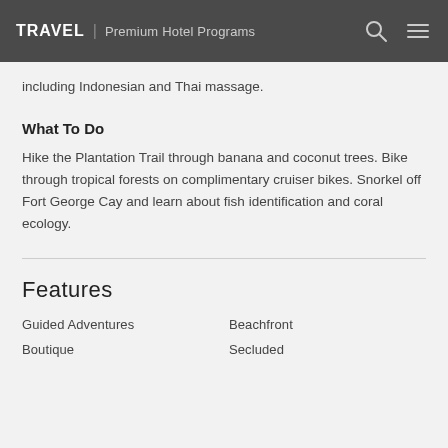TRAVEL | Premium Hotel Programs
including Indonesian and Thai massage.
What To Do
Hike the Plantation Trail through banana and coconut trees. Bike through tropical forests on complimentary cruiser bikes. Snorkel off Fort George Cay and learn about fish identification and coral ecology.
Features
Guided Adventures
Beachfront
Boutique
Secluded